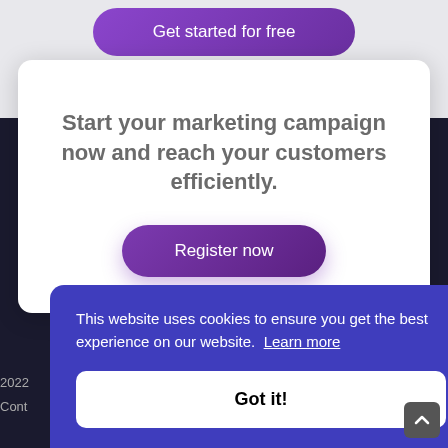Get started for free
Start your marketing campaign now and reach your customers efficiently.
Register now
This website uses cookies to ensure you get the best experience on our website. Learn more
Got it!
2022
Cont